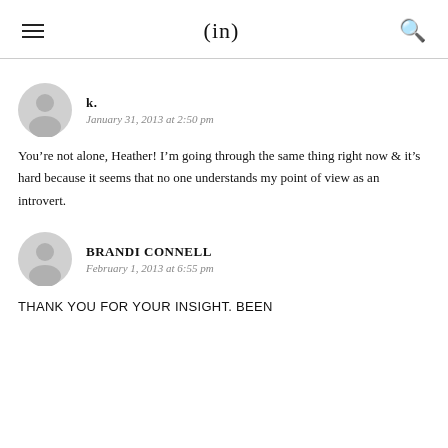(in)
k.
January 31, 2013 at 2:50 pm
You’re not alone, Heather! I’m going through the same thing right now & it’s hard because it seems that no one understands my point of view as an introvert.
BRANDI CONNELL
February 1, 2013 at 6:55 pm
THANK YOU FOR YOUR INSIGHT. BEEN